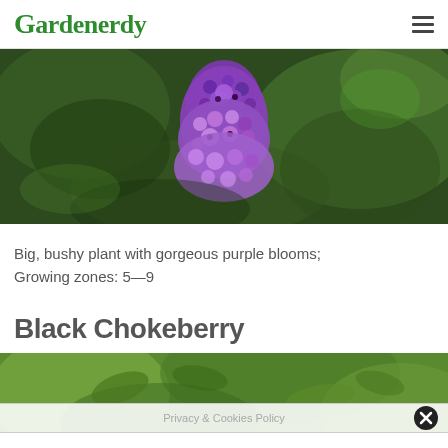Gardenerdy
[Figure (photo): Close-up photo of a purple butterfly bush bloom spike against a dark green bokeh background]
Big, bushy plant with gorgeous purple blooms; Growing zones: 5—9
Black Chokeberry
[Figure (photo): Partial photo of Black Chokeberry plant with green leaves, overlaid with a Privacy & Cookies Policy bar and close button]